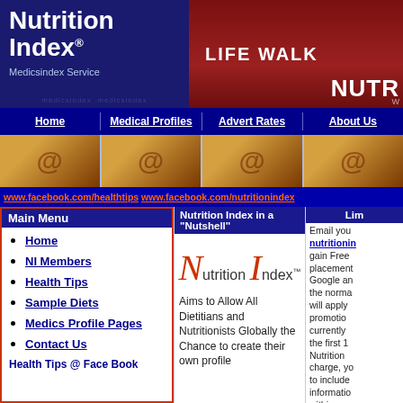[Figure (logo): Nutrition Index logo with dark blue background, white bold text 'Nutrition Index®', subtitle 'Medicsindex Service']
[Figure (photo): Banner with 'LIFE WALK' text and 'NUTR' partially visible on dark red background with apple image]
Home | Medical Profiles | Advert Rates | About Us
[Figure (photo): Decorative band with food/cinnamon images repeated across four sections]
www.facebook.com/healthtips www.facebook.com/nutritionindex
Main Menu
Home
NI Members
Health Tips
Sample Diets
Medics Profile Pages
Contact Us
Health Tips @ Face Book
Nutrition Index in a "Nutshell"
[Figure (logo): Nutrition Index logo with large italic N and I in red, text 'utrition Index™']
Aims to Allow All Dietitians and Nutritionists Globally the Chance to create their own profile
Lim
Email you... nutritionin... gain Free placement Google an the norma will apply promotio currently the first 1 Nutrition charge, yo to include informatio within yo